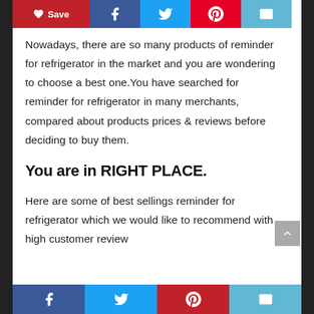[Figure (screenshot): Top social share bar with Save (heart), Facebook, Twitter, Pinterest, Email buttons]
Nowadays, there are so many products of reminder for refrigerator in the market and you are wondering to choose a best one.You have searched for reminder for refrigerator in many merchants, compared about products prices & reviews before deciding to buy them.
You are in RIGHT PLACE.
Here are some of best sellings reminder for refrigerator which we would like to recommend with high customer review
[Figure (screenshot): Bottom social bar with Facebook, Twitter, Pinterest, Email buttons]